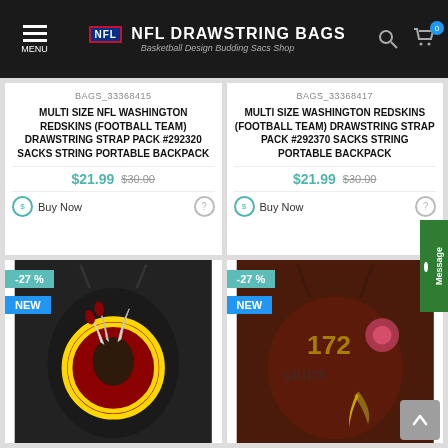NFL DRAWSTRING BAGS - Basketball Design Budding Sacs Shop
BAGS_33368415
MULTI SIZE NFL WASHINGTON REDSKINS (FOOTBALL TEAM) DRAWSTRING STRAP PACK #292320 SACKS STRING PORTABLE BACKPACK
$21.99  $30.00
Buy Now
BAGS_33368417
MULTI SIZE WASHINGTON REDSKINS (FOOTBALL TEAM) DRAWSTRING STRAP PACK #292370 SACKS STRING PORTABLE BACKPACK
$21.99  $30.00
Buy Now
[Figure (photo): Washington Redskins drawstring bag with team logo, -27% discount badge, NEW badge]
[Figure (photo): Washington Redskins drawstring bag with player graphics, -27% discount badge, NEW badge]